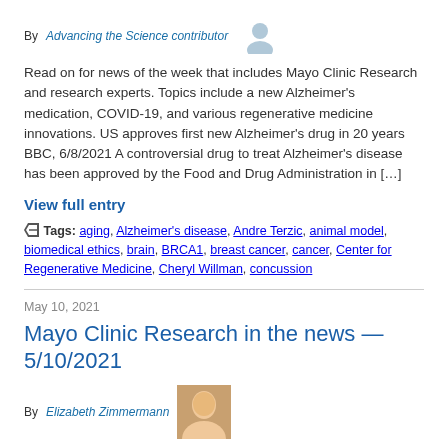By Advancing the Science contributor
Read on for news of the week that includes Mayo Clinic Research and research experts. Topics include a new Alzheimer's medication, COVID-19, and various regenerative medicine innovations. US approves first new Alzheimer's drug in 20 years BBC, 6/8/2021 A controversial drug to treat Alzheimer's disease has been approved by the Food and Drug Administration in […]
View full entry
Tags: aging, Alzheimer's disease, Andre Terzic, animal model, biomedical ethics, brain, BRCA1, breast cancer, cancer, Center for Regenerative Medicine, Cheryl Willman, concussion
May 10, 2021
Mayo Clinic Research in the news — 5/10/2021
By Elizabeth Zimmermann